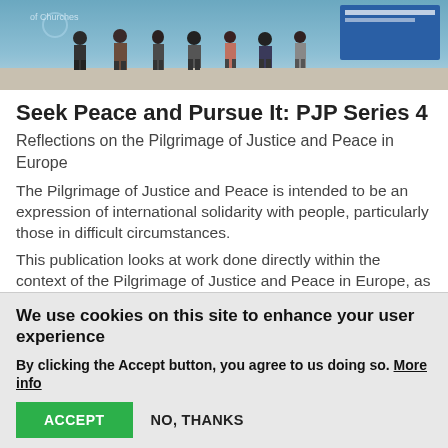[Figure (photo): Photo of group of people standing outdoors, partial view showing legs and figures, with a blue sign visible in the background]
Seek Peace and Pursue It: PJP Series 4
Reflections on the Pilgrimage of Justice and Peace in Europe
The Pilgrimage of Justice and Peace is intended to be an expression of international solidarity with people, particularly those in difficult circumstances.
This publication looks at work done directly within the context of the Pilgrimage of Justice and Peace in Europe, as well as justice and peace issues promoted by churches that complement the Pilgrimage of
We use cookies on this site to enhance your user experience
By clicking the Accept button, you agree to us doing so. More info
ACCEPT
NO, THANKS